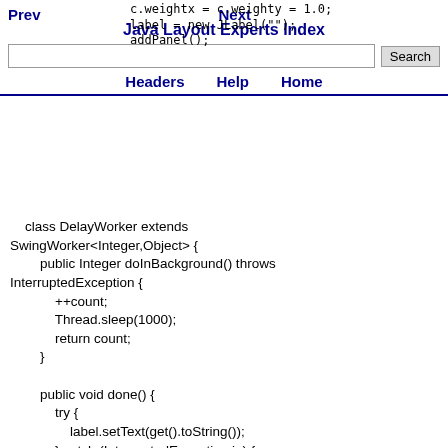Prev  c.weightx = c.weighty = 1.0;
  label = new JLabel("");
  Java Layout Experts Index
  addPanel();
Search
Headers  Help  Home
class DelayWorker extends SwingWorker<Integer,Object> {
        public Integer doInBackground() throws InterruptedException {
            ++count;
            Thread.sleep(1000);
            return count;
        }

        public void done() {
            try {
                label.setText(get().toString());
            } catch (InterruptedException ie) {
                ie.printStackTrace();
            } catch (ExecutionException ee) {
                ee.printStackTrace();
            }
        }
    }